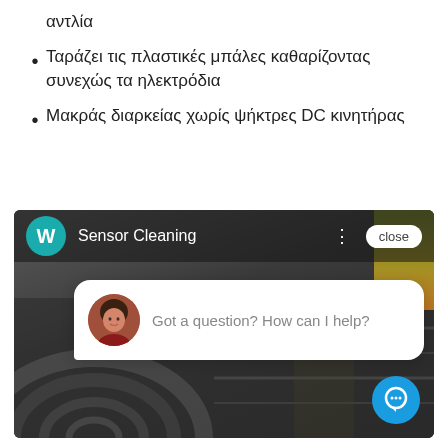αντλία
Ταράζει τις πλαστικές μπάλες καθαρίζοντας συνεχώς τα ηλεκτρόδια
Μακράς διαρκείας χωρίς ψήκτρες DC κινητήρας
[Figure (screenshot): Screenshot of a web page showing a 'Sensor Cleaning' chat widget with a teal 'W' avatar, a 'close' button, a chat bubble with a female avatar saying 'Got a question? How can I help?', and a blue chat icon in the bottom right corner, overlaid on an industrial/machinery background image.]